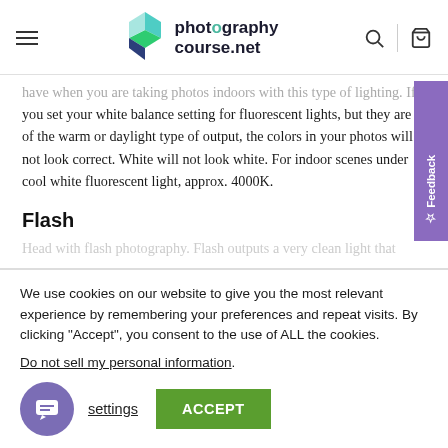[Figure (logo): photographycourse.net logo with teal/green/blue geometric P icon and dark text]
have when you are taking photos indoors with this type of lighting. If you set your white balance setting for fluorescent lights, but they are of the warm or daylight type of output, the colors in your photos will not look correct. White will not look white. For indoor scenes under cool white fluorescent light, approx. 4000K.
Flash
Head with flash photography. Flash outputs a very clean light that
We use cookies on our website to give you the most relevant experience by remembering your preferences and repeat visits. By clicking “Accept”, you consent to the use of ALL the cookies.
Do not sell my personal information.
settings
ACCEPT